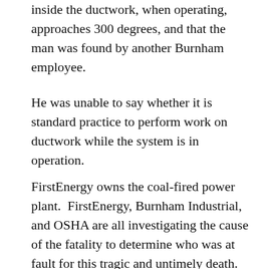inside the ductwork, when operating, approaches 300 degrees, and that the man was found by another Burnham employee.
He was unable to say whether it is standard practice to perform work on ductwork while the system is in operation.
FirstEnergy owns the coal-fired power plant.  FirstEnergy, Burnham Industrial, and OSHA are all investigating the cause of the fatality to determine who was at fault for this tragic and untimely death.  Officials will continue to investigate the accident to determine how and why safety measures failed and whether there were any violations of federal safety regulations.